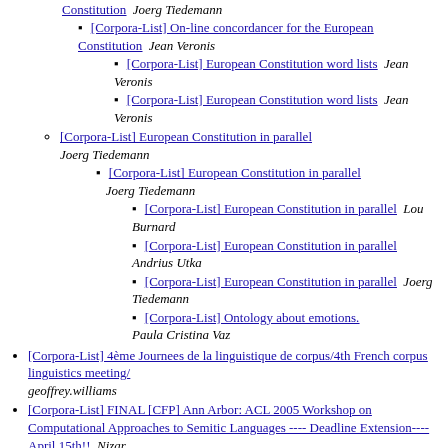[Corpora-List] On-line concordancer for the European Constitution  Joerg Tiedemann (linked heading at top)
[Corpora-List] On-line concordancer for the European Constitution  Jean Veronis
[Corpora-List] European Constitution word lists  Jean Veronis
[Corpora-List] European Constitution word lists  Jean Veronis
[Corpora-List] European Constitution in parallel  Joerg Tiedemann
[Corpora-List] European Constitution in parallel  Joerg Tiedemann
[Corpora-List] European Constitution in parallel  Lou Burnard
[Corpora-List] European Constitution in parallel  Andrius Utka
[Corpora-List] European Constitution in parallel  Joerg Tiedemann
[Corpora-List] Ontology about emotions.  Paula Cristina Vaz
[Corpora-List] 4ème Journees de la linguistique de corpus/4th French corpus linguistics meeting/  geoffrey.williams
[Corpora-List] FINAL [CFP] Ann Arbor: ACL 2005 Workshop on Computational Approaches to Semitic Languages ---- Deadline Extension----April 15th!!  Nizar